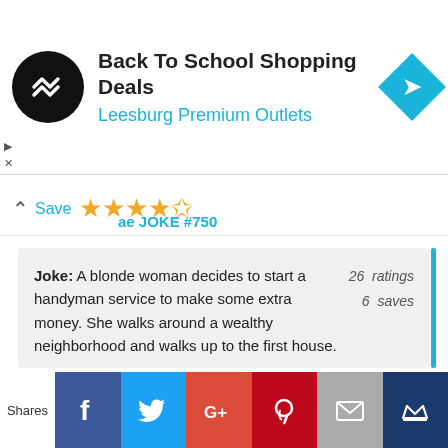[Figure (screenshot): Ad banner: black circular logo with arrow icon, 'Back To School Shopping Deals' bold title, 'Leesburg Premium Outlets' in cyan, blue diamond navigation arrow on right]
Save ★★★★½
ae JOKE #750
Joke: A blonde woman decides to start a handyman service to make some extra money. She walks around a wealthy neighborhood and walks up to the first house.

A man answers the door and she asks if there is anything she can do. He tells her "The porch need painted, how much would that cost?"

She replies "How does $50 sound?" He agrees and she gets to work.

26 ratings
6 saves
[Figure (screenshot): Social share buttons bar: Shares label, Facebook (blue), Twitter (light blue), Google+ (red), Pinterest (dark red), Email (grey), Crown/bookmark (dark blue)]